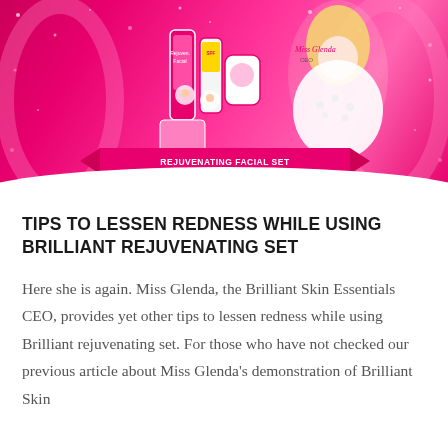[Figure (photo): Marketing image for Brilliant Rejuvenating Facial Set on a pink sparkly background. Shows product bottles/tubes and cartoon character faces. A banner at the bottom reads 'REJUVENATING FACIAL SET'. Miss Glenda (blonde woman in white fur) appears on the right side.]
TIPS TO LESSEN REDNESS WHILE USING BRILLIANT REJUVENATING SET
Here she is again. Miss Glenda, the Brilliant Skin Essentials CEO, provides yet other tips to lessen redness while using Brilliant rejuvenating set. For those who have not checked our previous article about Miss Glenda's demonstration of Brilliant Skin